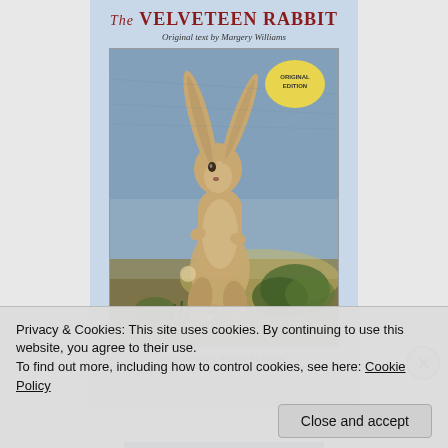[Figure (illustration): Book cover of The Velveteen Rabbit. Light blue background with the title 'The VELVETEEN RABBIT' in red serif font at top, subtitle 'Original text by Margery Williams' in italic script below the title. Center illustration shows a brown rabbit standing upright in a field with greenery, watercolor style painting. Yellow oval badge says 'ORIGINAL EDITION' in upper right of illustration. Bottom text reads 'Original art by William Nicholson'.]
Privacy & Cookies: This site uses cookies. By continuing to use this website, you agree to their use.
To find out more, including how to control cookies, see here: Cookie Policy
Close and accept